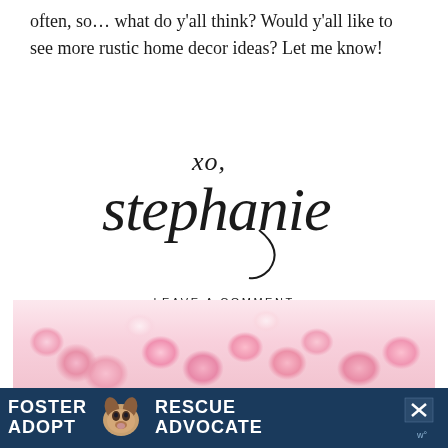often, so… what do y'all think? Would y'all like to see more rustic home decor ideas? Let me know!
[Figure (illustration): Cursive signature reading 'xo, stephanie' in large decorative script]
LEAVE A COMMENT
SHARE:
[Figure (photo): Close-up photo of pink ranunculus and roses flowers]
[Figure (other): Advertisement banner with dark blue background showing 'FOSTER ADOPT' on the left, a beagle dog image in center, and 'RESCUE ADVOCATE' on the right, with a close button]